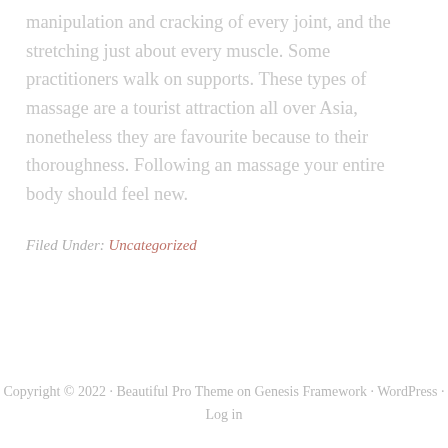manipulation and cracking of every joint, and the stretching just about every muscle. Some practitioners walk on supports. These types of massage are a tourist attraction all over Asia, nonetheless they are favourite because to their thoroughness. Following an massage your entire body should feel new.
Filed Under: Uncategorized
Copyright © 2022 · Beautiful Pro Theme on Genesis Framework · WordPress · Log in